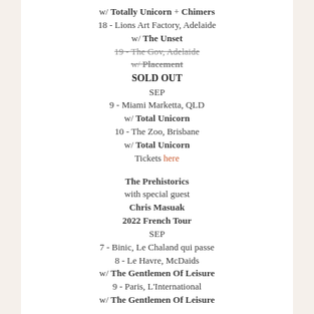w/ Totally Unicorn + Chimers
18 - Lions Art Factory, Adelaide
w/ The Unset
19 - The Gov, Adelaide (strikethrough)
w/ Placement (strikethrough)
SOLD OUT
SEP
9 - Miami Marketta, QLD
w/ Total Unicorn
10 - The Zoo, Brisbane
w/ Total Unicorn
Tickets here
The Prehistorics with special guest Chris Masuak 2022 French Tour
SEP
7 - Binic, Le Chaland qui passe
8 - Le Havre, McDaids
w/ The Gentlemen Of Leisure
9 - Paris, L'International
w/ The Gentlemen Of Leisure